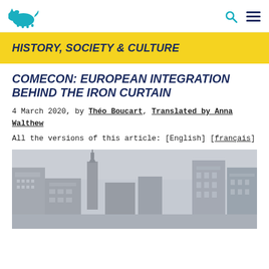Logo and navigation icons (search, menu)
HISTORY, SOCIETY & CULTURE
COMECON: EUROPEAN INTEGRATION BEHIND THE IRON CURTAIN
4 March 2020, by Théo Boucart, Translated by Anna Walthew
All the versions of this article: [English] [français]
[Figure (photo): Cityscape photo showing Soviet-era buildings and modern high-rises in foggy/overcast conditions, likely Moscow.]